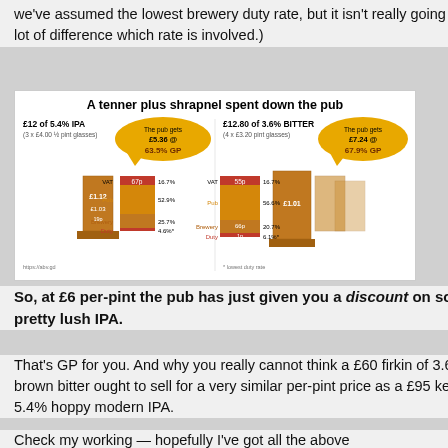we've assumed the lowest brewery duty rate, but it isn't really going to make a lot of difference which rate is involved.)
[Figure (infographic): Infographic titled 'A tenner plus shrapnel spent down the pub' showing two breakdowns: £12 of 5.4% IPA (3x£4.00 ½ pint glasses) with pub gets £5.36 @ 63.5% GP, and £12.80 of 3.6% BITTER (4x£3.20 pint glasses) with pub gets £7.24 @ 67.9% GP. Each shows stacked bar/beer glass charts with VAT, Pub, Brewery, Duty segments and percentages.]
So, at £6 per-pint the pub has just given you a discount on some pretty lush IPA.
That's GP for you. And why you really cannot think a £60 firkin of 3.6% brown bitter ought to sell for a very similar per-pint price as a £95 keg of 5.4% hoppy modern IPA.
Check my working — hopefully I've got all the above